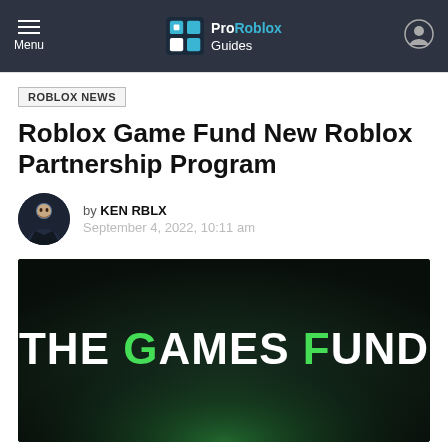Menu | Pro Roblox Guides
ROBLOX NEWS
Roblox Game Fund New Roblox Partnership Program
by KEN RBLX
September 4, 2022, 10:11 am
[Figure (illustration): Dark background image with bold text reading THE GAMES FUND, where G in GAMES and F in FUND are highlighted in green, rest of letters in white]